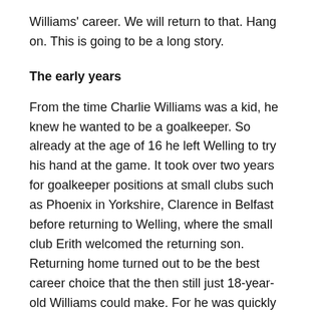Williams' career. We will return to that. Hang on. This is going to be a long story.
The early years
From the time Charlie Williams was a kid, he knew he wanted to be a goalkeeper. So already at the age of 16 he left Welling to try his hand at the game. It took over two years for goalkeeper positions at small clubs such as Phoenix in Yorkshire, Clarence in Belfast before returning to Welling, where the small club Erith welcomed the returning son. Returning home turned out to be the best career choice that the then still just 18-year-old Williams could make. For he was quickly noticed by Erith's neighbouring club, which was very ambitious, and which today goes by the name “Arsenal”.
However, the club was then called Royal Arsenal and was